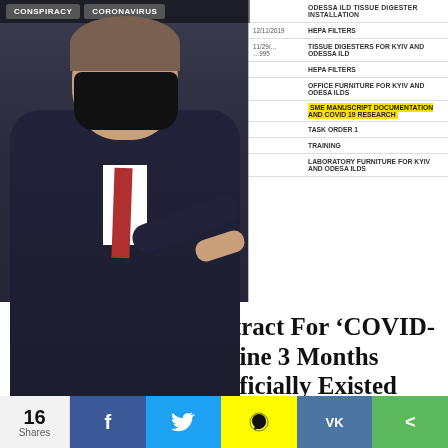[Figure (photo): Composite image: left side shows a man in a dark suit wearing a black face mask pointing, with conspiracy and coronavirus topic tags at top; right side shows a partial table with dates and items including ODESSA ILD TISSUE DIGESTER INSTALLATION, HEPA FILTERS, TISSUE DIGESTERS FOR KYIV AND ODESSA ILD, HEPA FILTERS, OFFICE FURNITURE FOR KYIV AND ODESSA ILDS, SME MANUSCRIPT DOCUMENTATION AND COVID 19 RESEARCH (highlighted yellow), TASK ORDER 1, TRAINING, LABORATORY FURNITURE FOR KYIV AND ODESA ILDS. The FreethoughtProject watermark appears bottom right.]
D.O.D. Issued A Contract For ‘COVID-19 Research’ In Ukraine 3 Months Before COVID-19 Officially Existed
[Figure (photo): Carousel strip with two ad images: left shows a dental/mouth close-up image, right shows a person holding their abdomen area. Text overlay: 'Here...' and 'Sym'. Navigation arrows on left and right sides.]
16 Shares
f (Facebook share) | Twitter share | Snapchat share | VK share | More share